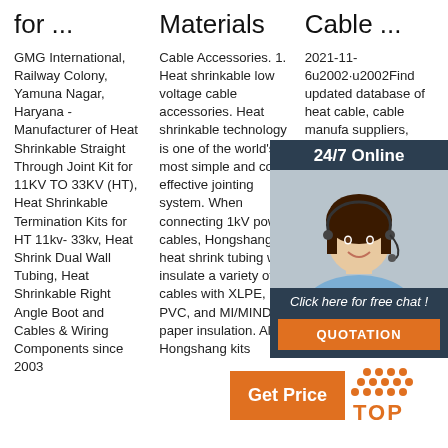for ...
Materials
Cable ...
GMG International, Railway Colony, Yamuna Nagar, Haryana - Manufacturer of Heat Shrinkable Straight Through Joint Kit for 11KV TO 33KV (HT), Heat Shrinkable Termination Kits for HT 11kv- 33kv, Heat Shrink Dual Wall Tubing, Heat Shrinkable Right Angle Boot and Cables & Wiring Components since 2003
Cable Accessories. 1. Heat shrinkable low voltage cable accessories. Heat shrinkable technology is one of the world's most simple and cost effective jointing system. When connecting 1kV power cables, Hongshang heat shrink tubing will insulate a variety of cables with XLPE, PVC, and MI/MIND paper insulation. All Hongshang kits
2021-11-6u2002·u2002Find updated database of heat cable, cable manufacturers, suppliers, exporters shown by companies offering quality cable a
[Figure (other): 24/7 online chat widget with photo of customer service agent, 'Click here for free chat!' text, and orange QUOTATION button]
[Figure (other): Orange 'Get Price' button with orange TOP icon (dots and text)]